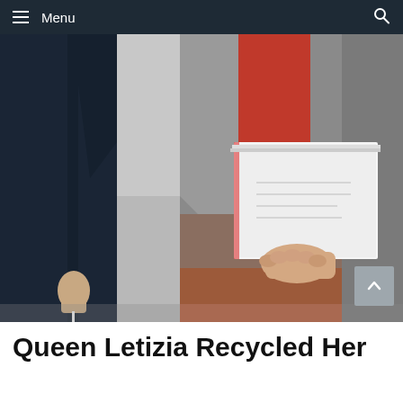Menu
[Figure (photo): Close-up photo of a woman holding documents, wearing a grey and rust/red color-block coat over a red top, with another person in a dark navy coat visible on the left. Outdoor setting with blurred background.]
Queen Letizia Recycled Her